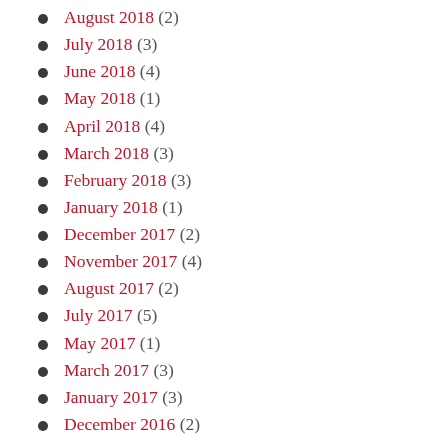August 2018 (2)
July 2018 (3)
June 2018 (4)
May 2018 (1)
April 2018 (4)
March 2018 (3)
February 2018 (3)
January 2018 (1)
December 2017 (2)
November 2017 (4)
August 2017 (2)
July 2017 (5)
May 2017 (1)
March 2017 (3)
January 2017 (3)
December 2016 (2)